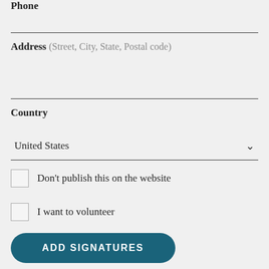Phone
Address (Street, City, State, Postal code)
Country
United States
Don't publish this on the website
I want to volunteer
ADD SIGNATURES